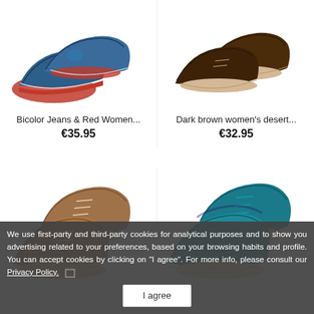[Figure (photo): Blue suede women's bicolor shoes with red sole, top view from above]
[Figure (photo): Dark brown women's desert boots, top view from above]
Bicolor Jeans & Red Women...
Dark brown women's desert...
€35.95
€32.95
[Figure (photo): Tan leather women's desert boots with laces]
[Figure (photo): Teal/turquoise suede women's desert boots with laces]
We use first-party and third-party cookies for analytical purposes and to show you advertising related to your preferences, based on your browsing habits and profile. You can accept cookies by clicking on "I agree". For more info, please consult our Privacy Policy.
I agree